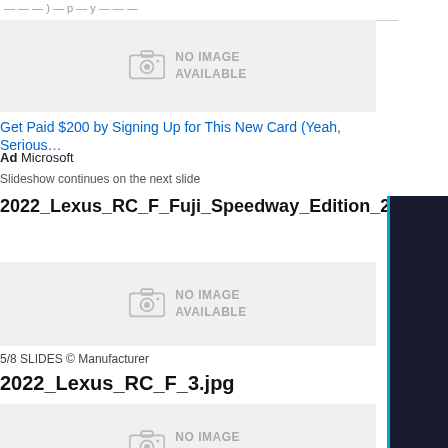— — — ) — p — y — — —
[Figure (other): No image available placeholder with camera icon]
Get Paid $200 by Signing Up for This New Card (Yeah, Seriously)
Ad Microsoft
Slideshow continues on the next slide
2022_Lexus_RC_F_Fuji_Speedway_Edition_2.jpg
[Figure (other): No image available placeholder with camera icon]
5/8 SLIDES © Manufacturer
2022_Lexus_RC_F_3.jpg
[Figure (other): No image available placeholder with camera icon]
6/8 SLIDES © Manufacturer